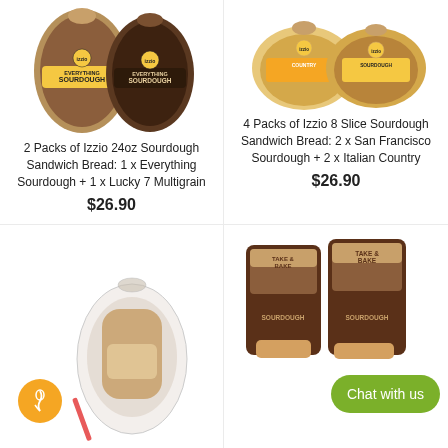[Figure (photo): Two loaves of Izzio 24oz Sourdough Sandwich Bread in packaging: Everything Sourdough and Lucky 7 Multigrain]
2 Packs of Izzio 24oz Sourdough Sandwich Bread: 1 x Everything Sourdough + 1 x Lucky 7 Multigrain
$26.90
[Figure (photo): Two round packages of Izzio 8 Slice bread: Italian Country and San Francisco Sourdough]
4 Packs of Izzio 8 Slice Sourdough Sandwich Bread: 2 x San Francisco Sourdough + 2 x Italian Country
$26.90
[Figure (photo): Bread product in clear packaging with orange circular icon with wheat/feather symbol]
[Figure (photo): Take & Bake bread packages in brown kraft packaging, with a green Chat with us button overlay]
Chat with us